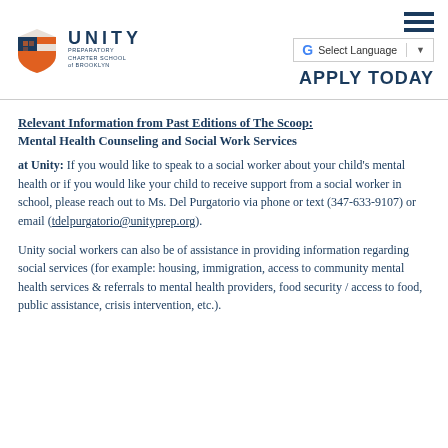Unity Preparatory Charter School of Brooklyn — APPLY TODAY
Relevant Information from Past Editions of The Scoop: Mental Health Counseling and Social Work Services
at Unity: If you would like to speak to a social worker about your child's mental health or if you would like your child to receive support from a social worker in school, please reach out to Ms. Del Purgatorio via phone or text (347-633-9107) or email (tdelpurgatorio@unityprep.org).
Unity social workers can also be of assistance in providing information regarding social services (for example: housing, immigration, access to community mental health services & referrals to mental health providers, food security / access to food, public assistance, crisis intervention, etc.).